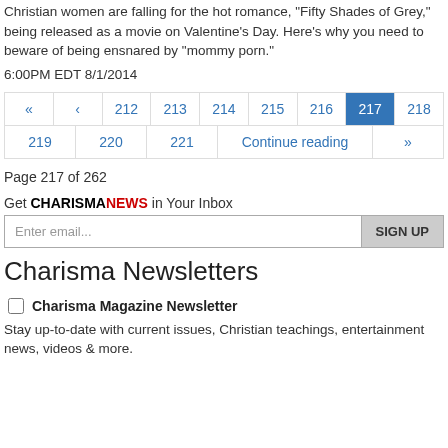Christian women are falling for the hot romance, "Fifty Shades of Grey," being released as a movie on Valentine's Day. Here's why you need to beware of being ensnared by "mommy porn."
6:00PM EDT 8/1/2014
Page navigation: « ‹ 212 213 214 215 216 217 218 219 220 221 Continue reading »
Page 217 of 262
Get CHARISMANEWS in Your Inbox
Charisma Newsletters
Charisma Magazine Newsletter — Stay up-to-date with current issues, Christian teachings, entertainment news, videos & more.